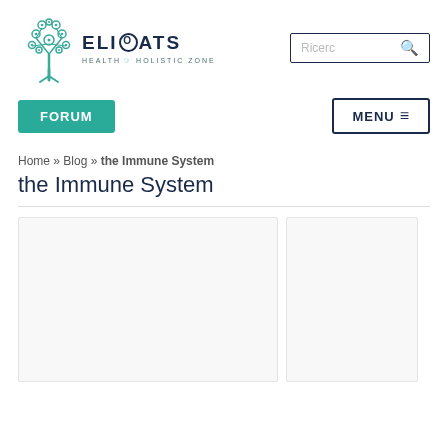[Figure (logo): Elioats Health & Holistic Zone logo with a stylized tree made of circles and a leaf/hand symbol]
Ricerc 🔍
FORUM
MENU ≡
Home » Blog » the Immune System
the Immune System